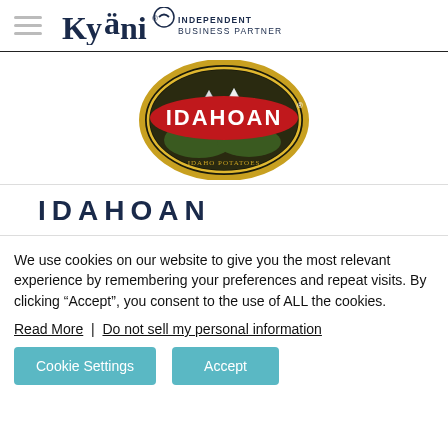Kyäni INDEPENDENT BUSINESS PARTNER
[Figure (logo): Idahoan brand logo — round badge with gold border, dark background with mountain scene, red ribbon with white IDAHOAN text and registered trademark symbol]
IDAHOAN
We use cookies on our website to give you the most relevant experience by remembering your preferences and repeat visits. By clicking “Accept”, you consent to the use of ALL the cookies.
Read More | Do not sell my personal information
Cookie Settings   Accept